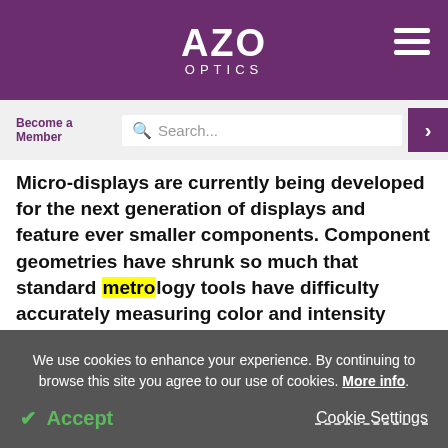AZO OPTICS
Become a Member
Search...
Micro-displays are currently being developed for the next generation of displays and feature ever smaller components. Component geometries have shrunk so much that standard metrology tools have difficulty accurately measuring color and intensity variations with the degree of spatial resolution required.
We use cookies to enhance your experience. By continuing to browse this site you agree to our use of cookies. More info.
✔ Accept
Cookie Settings